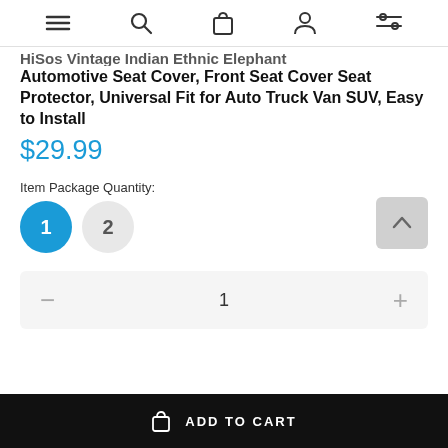(navigation icons: menu, search, cart, account, filters)
HiSos Vintage Indian Ethnic Elephant Automotive Seat Cover, Front Seat Cover Seat Protector, Universal Fit for Auto Truck Van SUV, Easy to Install
$29.99
Item Package Quantity:
1  2
1
ADD TO CART